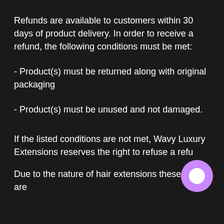Refunds are available to customers within 30 days of product delivery. In order to receive a refund, the following conditions must be met:
- Product(s) must be returned along with original packaging
- Product(s) must be unused and not damaged.
If the listed conditions are not met, Wavy Luxury Extensions reserves the right to refuse a refu
Due to the nature of hair extensions these items are